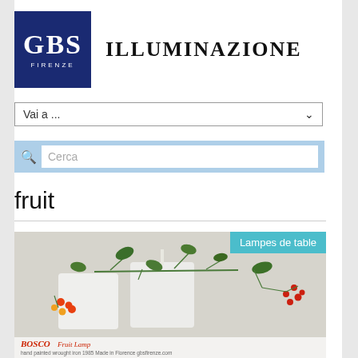[Figure (logo): GBS Firenze logo — dark navy blue square with white GBS text and FIRENZE subtitle, alongside ILLUMINAZIONE text in serif font]
[Figure (screenshot): Dropdown navigation element with label 'Vai a ...' and a downward chevron arrow]
[Figure (screenshot): Search bar with light blue background, magnifying glass icon, and white input field with placeholder text 'Cerca']
fruit
[Figure (photo): Product photo showing the BOSCO Fruit lamp — white cube-shaped lamps surrounded by green plants with red berries. Teal badge 'Lampes de table' in top right. Bottom text: BOSCO Fruit Lamp, hand painted wrought iron 1985, Made in Florence, gbsfirenze.com]